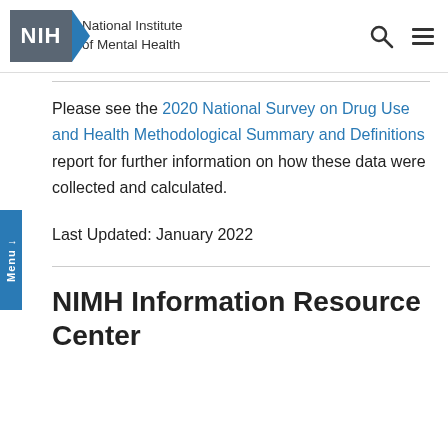NIH National Institute of Mental Health
Please see the 2020 National Survey on Drug Use and Health Methodological Summary and Definitions report for further information on how these data were collected and calculated.
Last Updated: January 2022
NIMH Information Resource Center